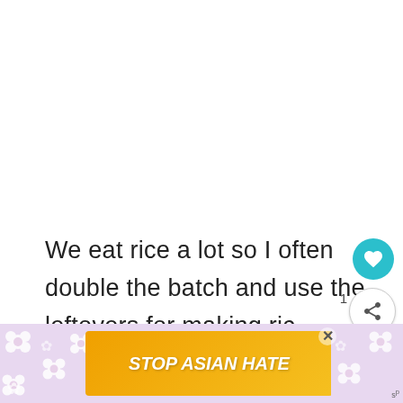We eat rice a lot so I often double the batch and use the leftovers for making rice pudding for dessert.
This is a family favorite because its easy to do and is quickly made on the stove top.
[Figure (other): STOP ASIAN HATE advertisement banner with flower decorations and anime character]